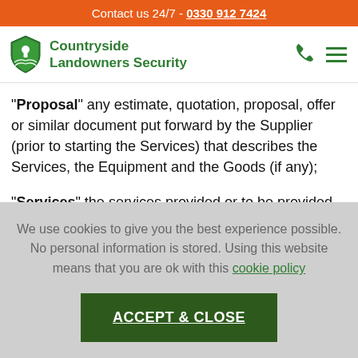Contact us 24/7 - 0330 912 7424
[Figure (logo): Countryside Landowners Security logo with green shield and keyhole icon, company name in green text]
“Proposal” any estimate, quotation, proposal, offer or similar document put forward by the Supplier (prior to starting the Services) that describes the Services, the Equipment and the Goods (if any);
“Services” the services provided or to be provided by the Supplier to the Customer which may include the installation
We use cookies to give you the best experience possible. No personal information is stored. Using this website means that you are ok with this cookie policy
ACCEPT & CLOSE